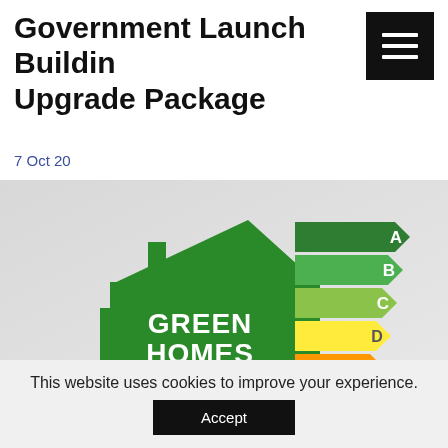Government Launch Building Upgrade Package
7 Oct 20
[Figure (illustration): Green Homes Grant promotional image showing a green house silhouette with an energy efficiency rating chart (A through F) in green, yellow-green, yellow, orange, and dark orange colors beside it. The letters A, B, C, D, E, F are shown on arrow-shaped bands. Text 'GREEN HOMES GRANT' is displayed on the green house shape.]
This website uses cookies to improve your experience.